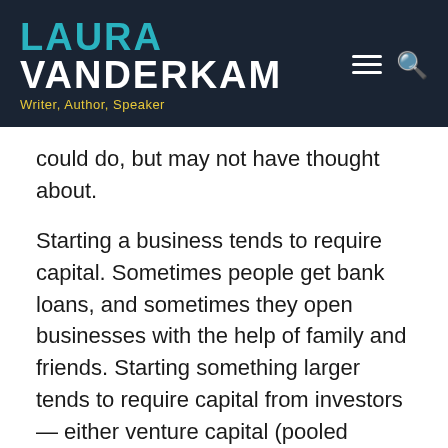LAURA VANDERKAM — Writer, Author, Speaker
could do, but may not have thought about.
Starting a business tends to require capital. Sometimes people get bank loans, and sometimes they open businesses with the help of family and friends. Starting something larger tends to require capital from investors — either venture capital (pooled money invested by pros) or money from “angel investors.” These are folks who invest as individuals in early stage companies in the hope of achieving a return.
Patterns of wealth being what they are, it’s